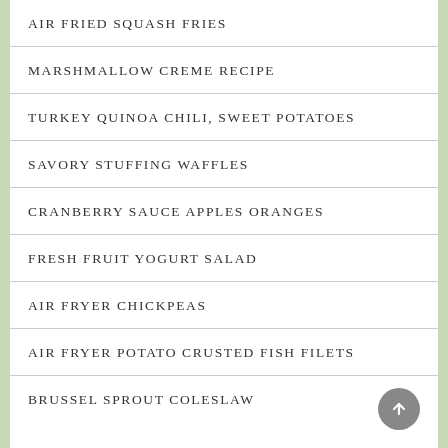AIR FRIED SQUASH FRIES
MARSHMALLOW CREME RECIPE
TURKEY QUINOA CHILI, SWEET POTATOES
SAVORY STUFFING WAFFLES
CRANBERRY SAUCE APPLES ORANGES
FRESH FRUIT YOGURT SALAD
AIR FRYER CHICKPEAS
AIR FRYER POTATO CRUSTED FISH FILETS
BRUSSEL SPROUT COLESLAW